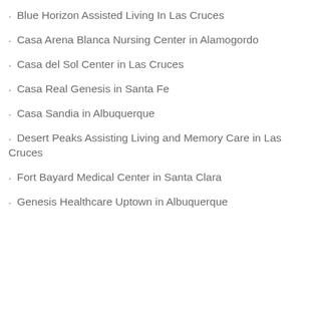Blue Horizon Assisted Living In Las Cruces
Casa Arena Blanca Nursing Center in Alamogordo
Casa del Sol Center in Las Cruces
Casa Real Genesis in Santa Fe
Casa Sandia in Albuquerque
Desert Peaks Assisting Living and Memory Care in Las Cruces
Fort Bayard Medical Center in Santa Clara
Genesis Healthcare Uptown in Albuquerque